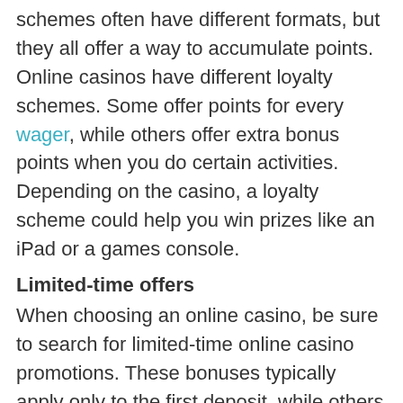schemes often have different formats, but they all offer a way to accumulate points. Online casinos have different loyalty schemes. Some offer points for every wager, while others offer extra bonus points when you do certain activities. Depending on the casino, a loyalty scheme could help you win prizes like an iPad or a games console.
Limited-time offers
When choosing an online casino, be sure to search for limited-time online casino promotions. These bonuses typically apply only to the first deposit, while others are awarded over time. Most of these bonuses offer a certain percentage of the amount of the deposit, ranging from five to twenty-five percent. While no casino game can be 100% guaranteed to win, there are simple